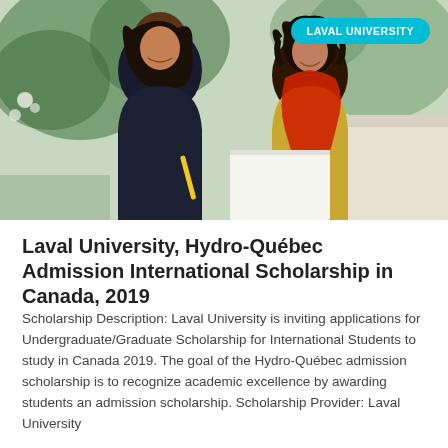[Figure (photo): Two female students sitting outdoors, smiling and looking at papers/notebook together. One wearing dark top, the other in yellow cardigan with red scarf. Green foliage in background.]
Laval University, Hydro-Québec Admission International Scholarship in Canada, 2019
Scholarship Description: Laval University is inviting applications for Undergraduate/Graduate Scholarship for International Students to study in Canada 2019. The goal of the Hydro-Québec admission scholarship is to recognize academic excellence by awarding students an admission scholarship. Scholarship Provider: Laval University